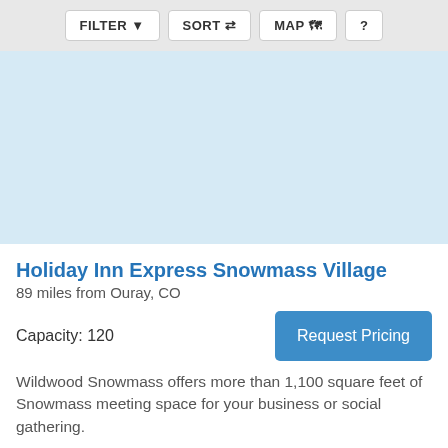[Figure (screenshot): Toolbar with FILTER, SORT, MAP, and ? buttons on a light grey background]
[Figure (map): Light blue map area placeholder]
Holiday Inn Express Snowmass Village
89 miles from Ouray, CO
Capacity: 120
Request Pricing
Wildwood Snowmass offers more than 1,100 square feet of Snowmass meeting space for your business or social gathering.
Hotel/Resort/Lodge (+1)